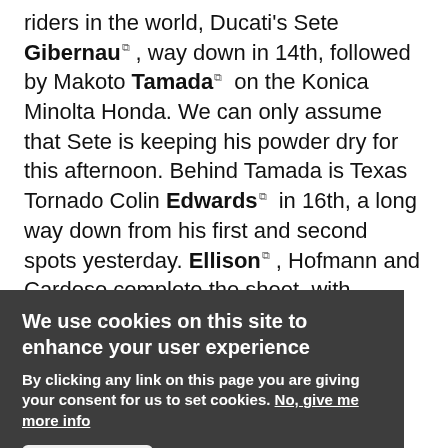riders in the world, Ducati's Sete Gibernau, way down in 14th, followed by Makoto Tamada on the Konica Minolta Honda. We can only assume that Sete is keeping his powder dry for this afternoon. Behind Tamada is Texas Tornado Colin Edwards in 16th, a long way down from his first and second spots yesterday. Ellison, Hofmann and Cardoso complete the sheet, with Cardoso being over 11 seconds slower than Stoner.
All in all, a little of what we expected to see, with a few surprises thrown in just to keep things interesting. Qualifying this afternoon should be a fascinating
We use cookies on this site to enhance your user experience
By clicking any link on this page you are giving your consent for us to set cookies. No, give me more info
OK, I agree